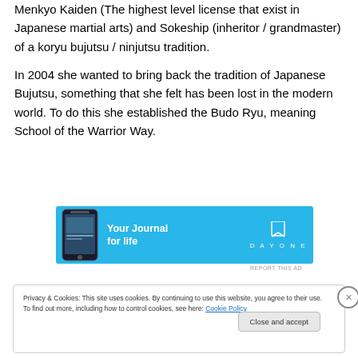Menkyo Kaiden (The highest level license that exist in Japanese martial arts) and Sokeship (inheritor / grandmaster) of a koryu bujutsu / ninjutsu tradition.
In 2004 she wanted to bring back the tradition of Japanese Bujutsu, something that she felt has been lost in the modern world. To do this she established the Budo Ryu, meaning School of the Warrior Way.
[Figure (screenshot): Advertisement banner for DayOne 'Your Journal for life' app, blue background with phone image and bookmark icon logo]
REPORT THIS AD
Privacy & Cookies: This site uses cookies. By continuing to use this website, you agree to their use.
To find out more, including how to control cookies, see here: Cookie Policy
Close and accept